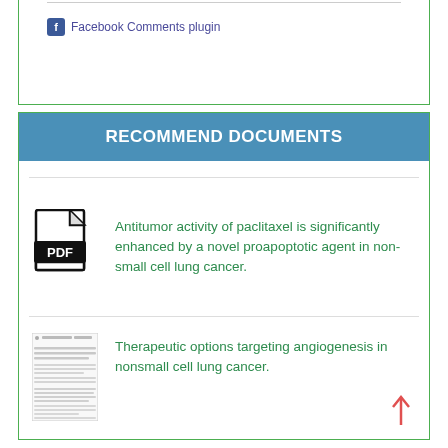Facebook Comments plugin
RECOMMEND DOCUMENTS
Antitumor activity of paclitaxel is significantly enhanced by a novel proapoptotic agent in non-small cell lung cancer.
Therapeutic options targeting angiogenesis in nonsmall cell lung cancer.